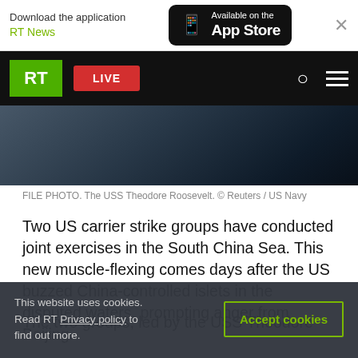Download the application RT News | Available on the App Store
[Figure (screenshot): RT news website navigation bar with RT logo, LIVE button, search and menu icons, and aerial photo of USS Theodore Roosevelt aircraft carrier]
FILE PHOTO. The USS Theodore Roosevelt. © Reuters / US Navy
Two US carrier strike groups have conducted joint exercises in the South China Sea. This new muscle-flexing comes days after the US buzzed China-controlled islets in the disputed waters, prompting anger from Beijing.
The two groups, led by the USS Theodore
This website uses cookies. Read RT Privacy policy to find out more.